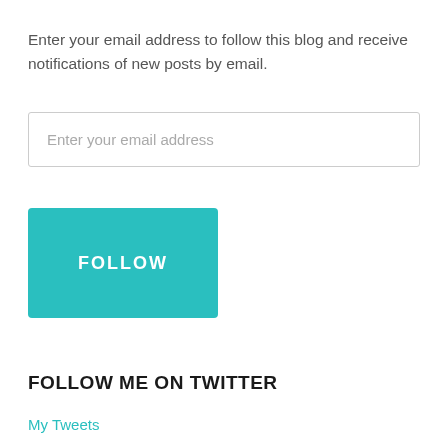Enter your email address to follow this blog and receive notifications of new posts by email.
Enter your email address
FOLLOW
FOLLOW ME ON TWITTER
My Tweets